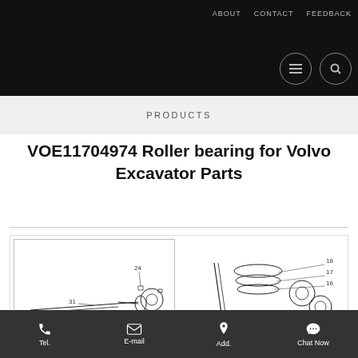ABOUT   CONTACT   FEEDBACK
PRODUCTS
VOE11704974 Roller bearing for Volvo Excavator Parts
[Figure (engineering-diagram): Technical engineering schematic diagrams of roller bearing parts for Volvo Excavator, showing numbered component callouts (24, 31, 22) on left diagram and (2, 16, 17, 18) on right diagram]
Tel.   E-mail   Add.   Chat Now